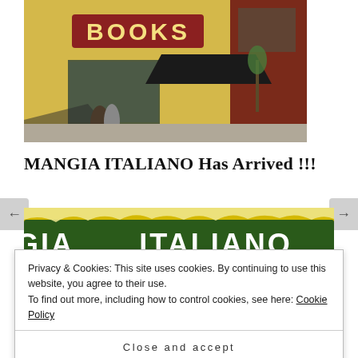[Figure (illustration): Painting of a bookstore storefront with a 'BOOKS' sign, yellow and dark red brick facade, large window with awning, and two figures standing outside in shadow.]
MANGIA ITALIANO Has Arrived !!!
[Figure (photo): Partial view of a book cover showing 'MANGIA ITALIANO' text in white on a dark green background with yellow behind it.]
Privacy & Cookies: This site uses cookies. By continuing to use this website, you agree to their use.
To find out more, including how to control cookies, see here: Cookie Policy
Close and accept
[Figure (photo): Bottom strip of another book cover image, partially visible.]